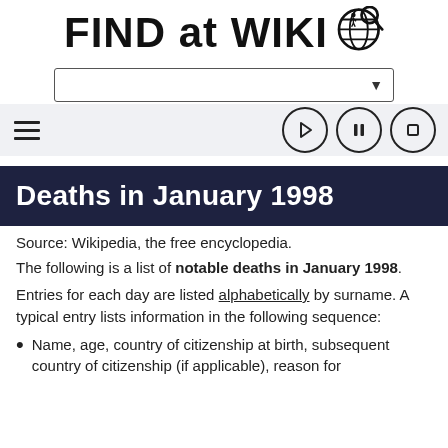FIND at WIKI
[Figure (screenshot): Search dropdown bar with dropdown arrow]
[Figure (screenshot): Toolbar with hamburger menu on left and media control buttons (play, pause, stop) on right]
Deaths in January 1998
Source: Wikipedia, the free encyclopedia.
The following is a list of notable deaths in January 1998.
Entries for each day are listed alphabetically by surname. A typical entry lists information in the following sequence:
Name, age, country of citizenship at birth, subsequent country of citizenship (if applicable), reason for